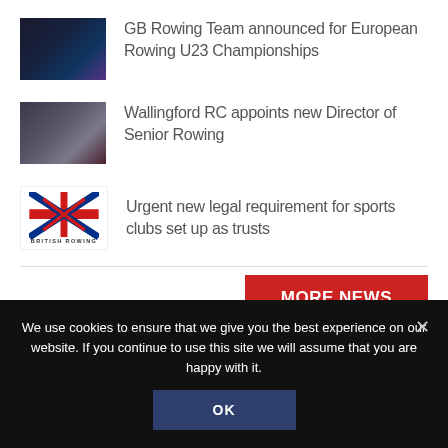[Figure (photo): Thumbnail photo of a rower for GB Rowing Team news article]
GB Rowing Team announced for European Rowing U23 Championships
[Figure (photo): Thumbnail photo of a person in rowing attire for Wallingford RC news article]
Wallingford RC appoints new Director of Senior Rowing
[Figure (logo): British Rowing logo with Union Jack crossed oars]
Urgent new legal requirement for sports clubs set up as trusts
MORE NEWS
We use cookies to ensure that we give you the best experience on our website. If you continue to use this site we will assume that you are happy with it.
OK